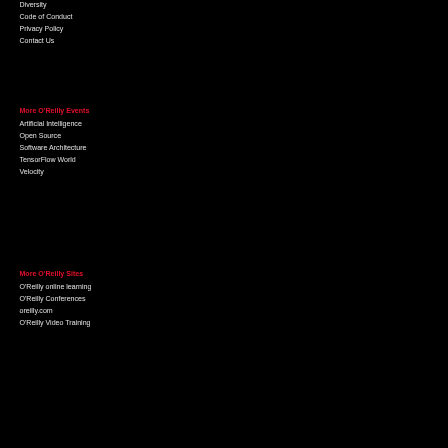Diversity
Code of Conduct
Privacy Policy
Contact Us
More O'Reilly Events
Artificial Intelligence
Open Source
Software Architecture
TensorFlow World
Velocity
More O'Reilly Sites
O'Reilly online learning
O'Reilly Conferences
oreilly.com
O'Reilly Video Training